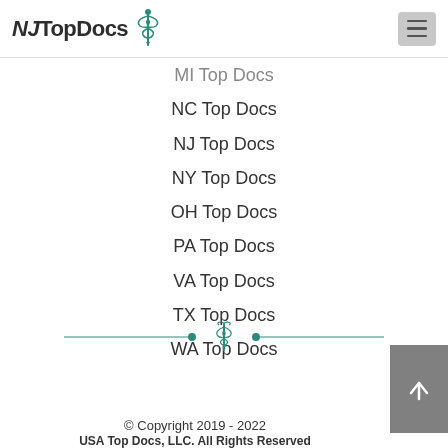NJ Top Docs
MI Top Docs
NC Top Docs
NJ Top Docs
NY Top Docs
OH Top Docs
PA Top Docs
VA Top Docs
TX Top Docs
WA Top Docs
[Figure (illustration): Teal caduceus medical symbol with horizontal line divider]
© Copyright 2019 - 2022
USA Top Docs, LLC. All Rights Reserved